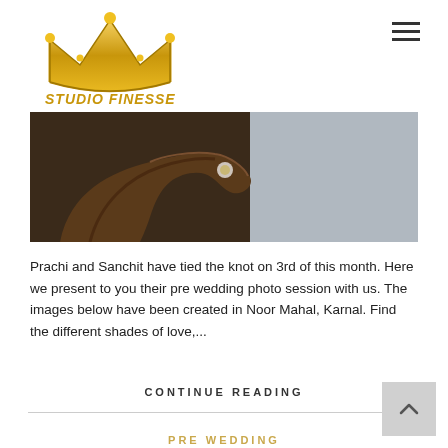[Figure (logo): Studio Finesse crown logo with gold crown icon and yellow italic text 'STUDIO FINESSE']
[Figure (photo): Close-up photograph of a hand holding a diamond ring with blurred background]
Prachi and Sanchit have tied the knot on 3rd of this month. Here we present to you their pre wedding photo session with us. The images below have been created in Noor Mahal, Karnal. Find the different shades of love,...
CONTINUE READING
PRE WEDDING